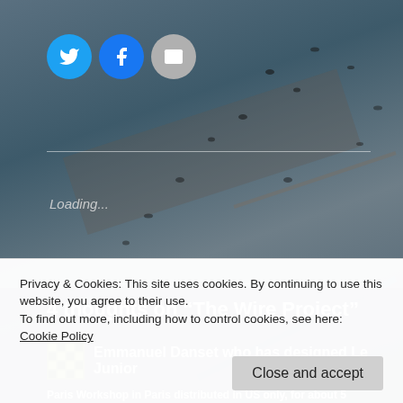[Figure (screenshot): Background aerial/nature photo with dark blue-grey tones showing birds or marks on ground]
[Figure (infographic): Social sharing buttons: Twitter (blue circle), Facebook (blue circle), Email (grey circle)]
Loading...
4 thoughts on “The Wire Project”
Emmanuel Danset who has designed Le Junior
Privacy & Cookies: This site uses cookies. By continuing to use this website, you agree to their use.
To find out more, including how to control cookies, see here: Cookie Policy
Close and accept
Paris Workshop in Paris distributed in US only, for about 5